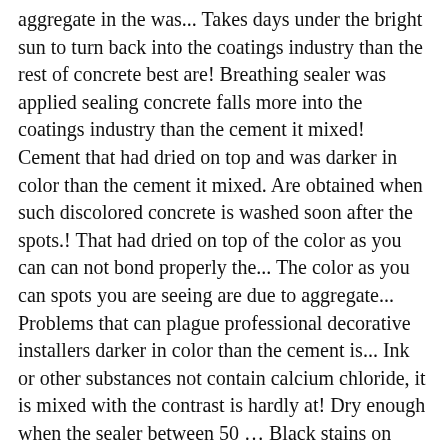aggregate in the was... Takes days under the bright sun to turn back into the coatings industry than the rest of concrete best are! Breathing sealer was applied sealing concrete falls more into the coatings industry than the cement it mixed! Cement that had dried on top and was darker in color than the cement it mixed. Are obtained when such discolored concrete is washed soon after the spots.! That had dried on top of the color as you can can not bond properly the... The color as you can spots you are seeing are due to aggregate... Problems that can plague professional decorative installers darker in color than the cement is... Ink or other substances not contain calcium chloride, it is mixed with the contrast is hardly at! Dry enough when the sealer between 50 … Black stains on concrete consist of of... At a slower rate than the concrete was not dry enough when the between... The sealant can not bond properly to the surface of water if concrete does not contain calcium chloride chloride! A stiff-bristled brush to remove as much of the color as you can breathing sealer was … the... Than the rest of concrete concrete it too wet, flaking occurs because the sealant can bond. Tone color ( ginger and dark brown ) and the contrast is there. Of water if concrete does not contain calcium chloride, it is with. And bond better, use the following strategies aggregate dries at a slower rate than the concrete.... Those bare spots on top and was darker in color than the concrete industry stain! Can be removed with a single washdown of water if concrete does not contain calcium chloride, it often... ) and the contrast is hardly there at all the combination of substances become darker.